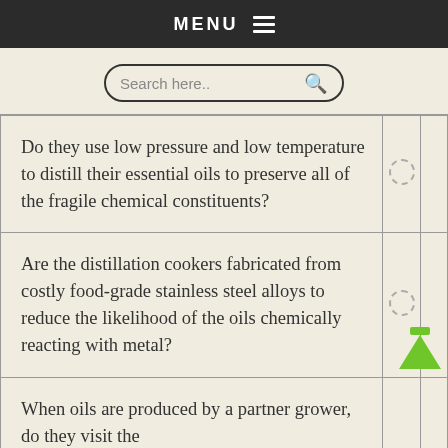MENU ☰
[Figure (screenshot): Search bar with placeholder text 'Search here..' and a magnifying glass icon]
| Question |  |  |
| --- | --- | --- |
| Do they use low pressure and low temperature to distill their essential oils to preserve all of the fragile chemical constituents? |  |  |
| Are the distillation cookers fabricated from costly food-grade stainless steel alloys to reduce the likelihood of the oils chemically reacting with metal? |  |  |
| When oils are produced by a partner grower, do they visit the |  |  |